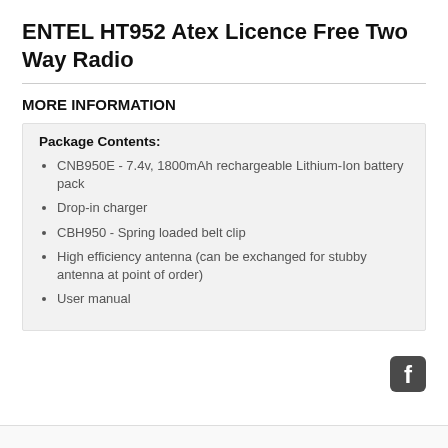ENTEL HT952 Atex Licence Free Two Way Radio
MORE INFORMATION
Package Contents:
CNB950E - 7.4v, 1800mAh rechargeable Lithium-Ion battery pack
Drop-in charger
CBH950 - Spring loaded belt clip
High efficiency antenna (can be exchanged for stubby antenna at point of order)
User manual
[Figure (logo): Facebook logo icon (white F on dark rounded square background)]